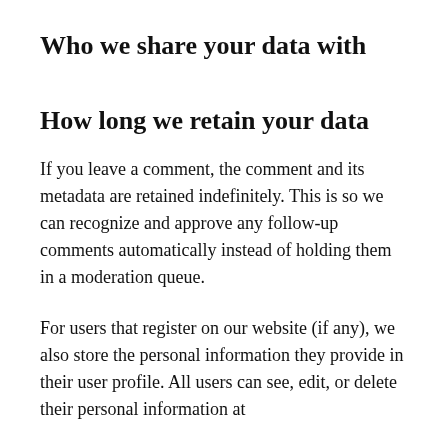Who we share your data with
How long we retain your data
If you leave a comment, the comment and its metadata are retained indefinitely. This is so we can recognize and approve any follow-up comments automatically instead of holding them in a moderation queue.
For users that register on our website (if any), we also store the personal information they provide in their user profile. All users can see, edit, or delete their personal information at